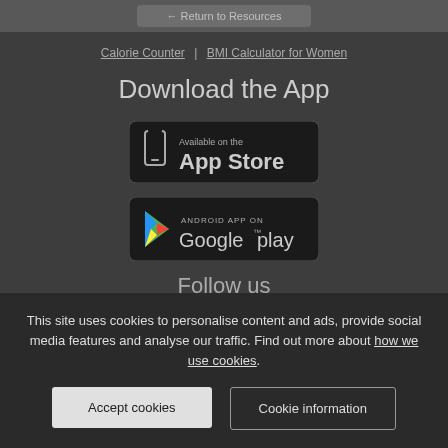← Return to Resources
Calorie Counter | BMI Calculator for Women
Download the App
[Figure (other): App Store download badge - Available on the App Store]
[Figure (other): Google Play download badge - Android App on Google play]
Follow us
This site uses cookies to personalise content and ads, provide social media features and analyse our traffic. Find out more about how we use cookies.
Accept cookies
Cookie information